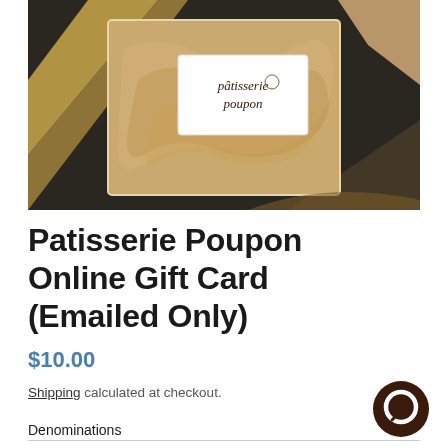[Figure (photo): Product photo of Patisserie Poupon gift box — a tan/kraft paper bag inside an open cream-bordered box, with a white gift card showing the 'pâtisserie poupon' logo in the center, set on a dark background with a gold ribbon.]
Patisserie Poupon Online Gift Card (Emailed Only)
$10.00
Shipping calculated at checkout.
Denominations